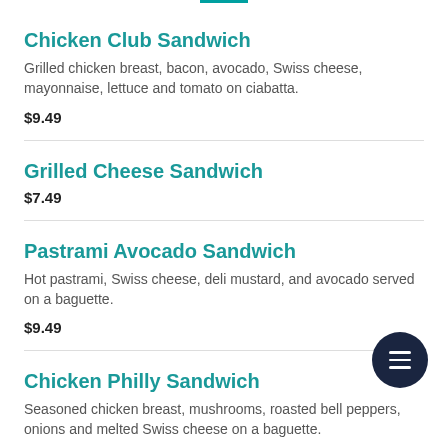Chicken Club Sandwich
Grilled chicken breast, bacon, avocado, Swiss cheese, mayonnaise, lettuce and tomato on ciabatta.
$9.49
Grilled Cheese Sandwich
$7.49
Pastrami Avocado Sandwich
Hot pastrami, Swiss cheese, deli mustard, and avocado served on a baguette.
$9.49
Chicken Philly Sandwich
Seasoned chicken breast, mushrooms, roasted bell peppers, onions and melted Swiss cheese on a baguette.
$8.99